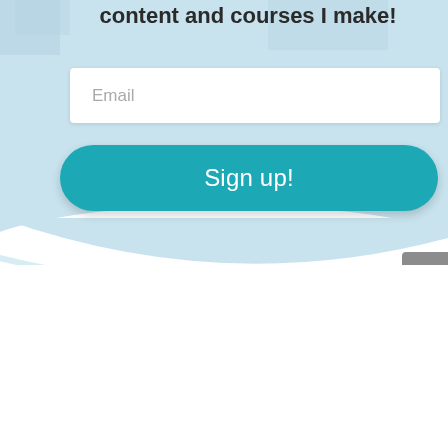content and courses I make!
[Figure (other): Email input field with placeholder text 'Email']
[Figure (other): Teal rounded 'Sign up!' button]
[Figure (other): Gray scroll-to-top button with upward chevron arrow, partially visible at right edge]